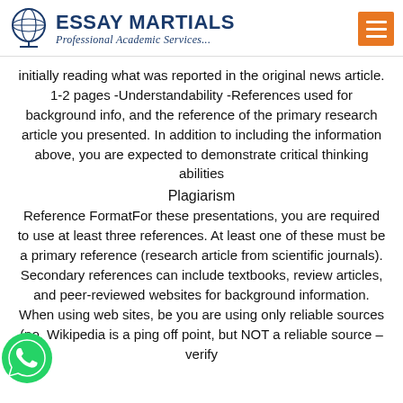ESSAY MARTIALS Professional Academic Services...
initially reading what was reported in the original news article. 1-2 pages -Understandability -References used for background info, and the reference of the primary research article you presented. In addition to including the information above, you are expected to demonstrate critical thinking abilities
Plagiarism
Reference FormatFor these presentations, you are required to use at least three references. At least one of these must be a primary reference (research article from scientific journals). Secondary references can include textbooks, review articles, and peer-reviewed websites for background information. When using web sites, be you are using only reliable sources (no, Wikipedia is a ping off point, but NOT a reliable source – verify